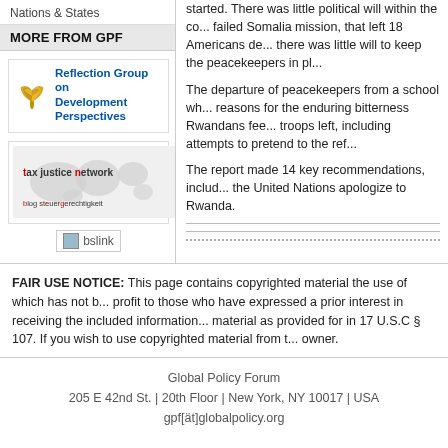Nations & States
MORE FROM GPF
[Figure (logo): Reflection Group on Development Perspectives logo with ginkgo leaf icon]
[Figure (logo): Tax Justice Network logo with world map background and blog steuergerechtigkeit text]
[Figure (other): bslink image link]
started. There was little political will within the co... failed Somalia mission, that left 18 Americans de... there was little will to keep the peacekeepers in pl...
The departure of peacekeepers from a school wh... reasons for the enduring bitterness Rwandans fee... troops left, including attempts to pretend to the ref...
The report made 14 key recommendations, includ... the United Nations apologize to Rwanda.
FAIR USE NOTICE: This page contains copyrighted material the use of which has not b... profit to those who have expressed a prior interest in receiving the included information... material as provided for in 17 U.S.C § 107. If you wish to use copyrighted material from t... owner.
Global Policy Forum
205 E 42nd St. | 20th Floor | New York, NY 10017 | USA
gpf[ät]globalpolicy.org